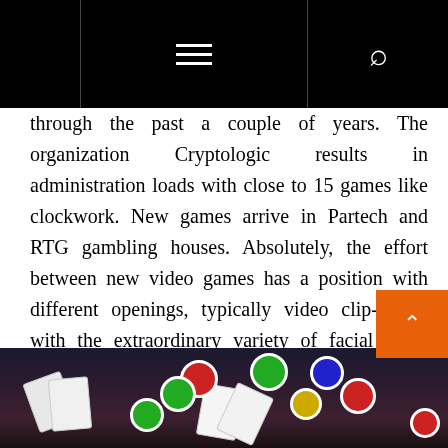through the past a couple of years. The organization Cryptologic results in administration loads with close to 15 games like clockwork. New games arrive in Partech and RTG gambling houses. Absolutely, the effort between new video games has a position with different openings, typically video clip-places with the extraordinary variety of facial lines, advantages or maybe with new patterns. Be that as it might, regular dinner table is now being produced too. How about we take a look at nearer at most recent improvements within the online casinos.
[Figure (photo): Casino photo showing playing cards and colorful poker chips on a dark background]